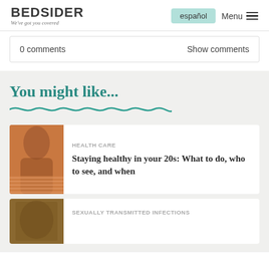BEDSIDER — We've got you covered | español | Menu
0 comments    Show comments
You might like...
HEALTH CARE
Staying healthy in your 20s: What to do, who to see, and when
SEXUALLY TRANSMITTED INFECTIONS